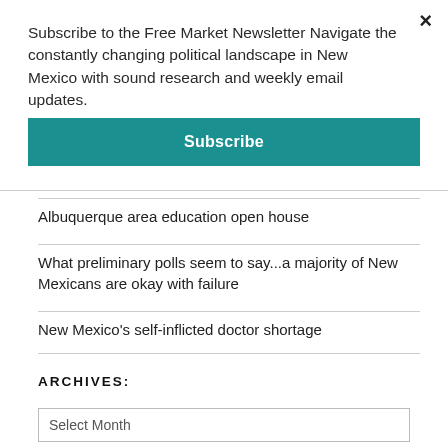Subscribe to the Free Market Newsletter Navigate the constantly changing political landscape in New Mexico with sound research and weekly email updates.
Subscribe
Albuquerque area education open house
What preliminary polls seem to say...a majority of New Mexicans are okay with failure
New Mexico's self-inflicted doctor shortage
ARCHIVES:
Select Month